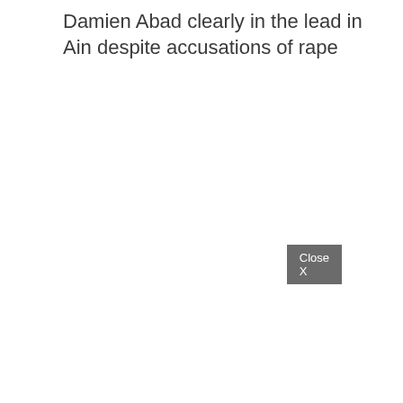Damien Abad clearly in the lead in Ain despite accusations of rape
Close X